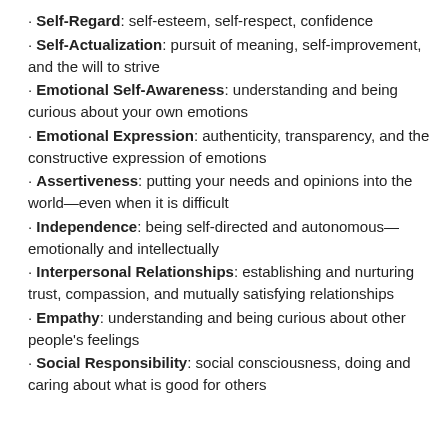Self-Regard: self-esteem, self-respect, confidence
Self-Actualization: pursuit of meaning, self-improvement, and the will to strive
Emotional Self-Awareness: understanding and being curious about your own emotions
Emotional Expression: authenticity, transparency, and the constructive expression of emotions
Assertiveness: putting your needs and opinions into the world—even when it is difficult
Independence: being self-directed and autonomous—emotionally and intellectually
Interpersonal Relationships: establishing and nurturing trust, compassion, and mutually satisfying relationships
Empathy: understanding and being curious about other people's feelings
Social Responsibility: social consciousness, doing and caring about what is good for others